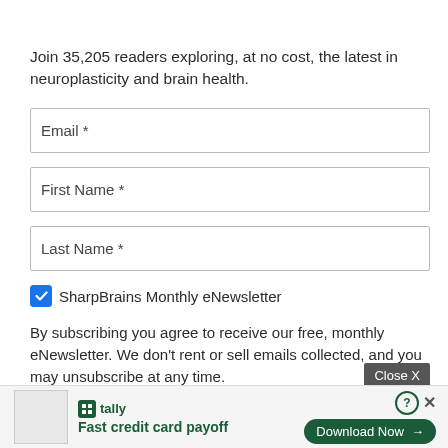Join 35,205 readers exploring, at no cost, the latest in neuroplasticity and brain health.
Email *
First Name *
Last Name *
SharpBrains Monthly eNewsletter
By subscribing you agree to receive our free, monthly eNewsletter. We don't rent or sell emails collected, and you may unsubscribe at any time.
Close X
[Figure (screenshot): Tally app advertisement banner at the bottom with 'Fast credit card payoff' tagline and 'Download Now' button]